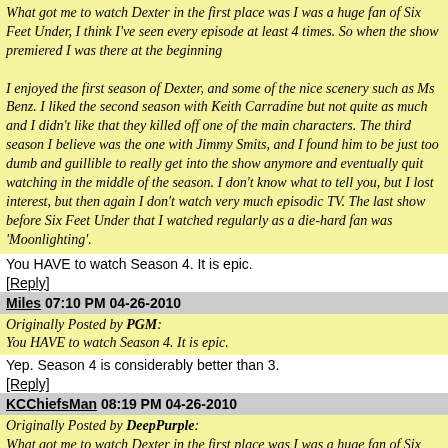What got me to watch Dexter in the first place was I was a huge fan of Six Feet Under, I think I've seen every episode at least 4 times. So when the show premiered I was there at the beginning

I enjoyed the first season of Dexter, and some of the nice scenery such as Ms Benz. I liked the second season with Keith Carradine but not quite as much and I didn't like that they killed off one of the main characters. The third season I believe was the one with Jimmy Smits, and I found him to be just too dumb and guillible to really get into the show anymore and eventually quit watching in the middle of the season. I don't know what to tell you, but I lost interest, but then again I don't watch very much episodic TV. The last show before Six Feet Under that I watched regularly as a die-hard fan was 'Moonlighting'.
You HAVE to watch Season 4. It is epic.
[Reply]
Miles 07:10 PM 04-26-2010
Originally Posted by PGM:
You HAVE to watch Season 4. It is epic.
Yep. Season 4 is considerably better than 3.
[Reply]
KCChiefsMan 08:19 PM 04-26-2010
Originally Posted by DeepPurple:
What got me to watch Dexter in the first place was I was a huge fan of Six Feet Under, I think I've seen every episode at least 4 times. So when the show premiered I was there at the beginning

I enjoyed the first season of Dexter, and some of the nice scenery such as Ms Benz. I liked the second season with Keith Carradine but not quite as much and I didn't like that they killed off one of the main characters. The third season I believe was